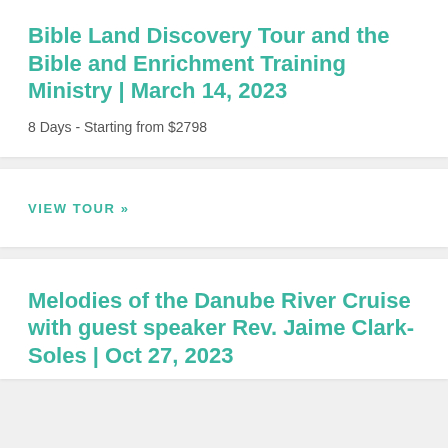Bible Land Discovery Tour and the Bible and Enrichment Training Ministry | March 14, 2023
8 Days - Starting from $2798
VIEW TOUR »
Melodies of the Danube River Cruise with guest speaker Rev. Jaime Clark-Soles | Oct 27, 2023